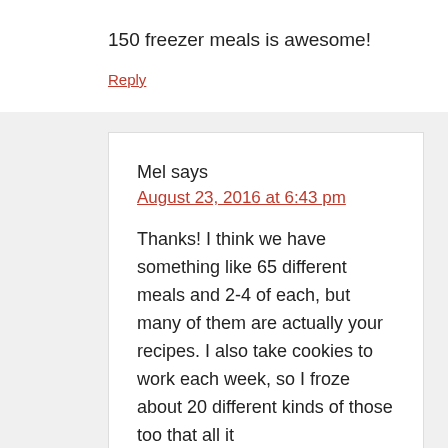150 freezer meals is awesome!
Reply
Mel says
August 23, 2016 at 6:43 pm
Thanks! I think we have something like 65 different meals and 2-4 of each, but many of them are actually your recipes. I also take cookies to work each week, so I froze about 20 different kinds of those too that all it